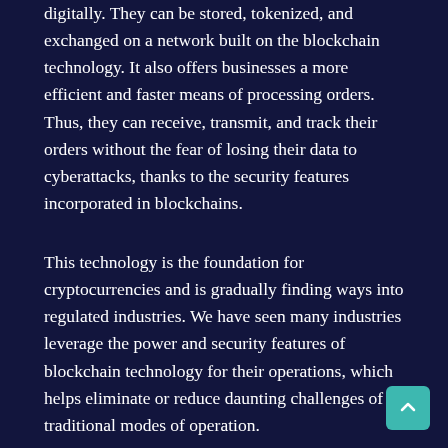digitally. They can be stored, tokenized, and exchanged on a network built on the blockchain technology. It also offers businesses a more efficient and faster means of processing orders. Thus, they can receive, transmit, and track their orders without the fear of losing their data to cyberattacks, thanks to the security features incorporated in blockchains.
This technology is the foundation for cryptocurrencies and is gradually finding ways into regulated industries. We have seen many industries leverage the power and security features of blockchain technology for their operations, which helps eliminate or reduce daunting challenges of traditional modes of operation.
History of Blockchain
Blockchain technology gained immense popularity with the release of Bitcoin in 2009. It is a peer-to-peer